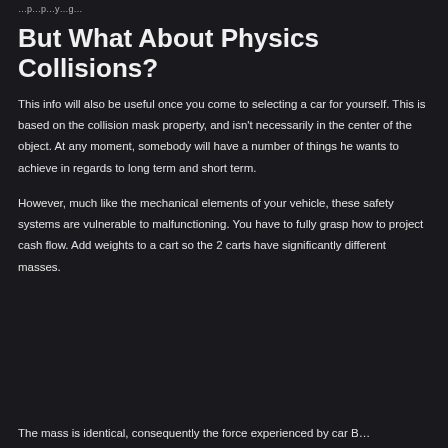…p…p…y…g…
But What About Physics Collisions?
This info will also be useful once you come to selecting a car for yourself. This is based on the collision mask property, and isn't necessarily in the center of the object. At any moment, somebody will have a number of things he wants to achieve in regards to long term and short term.
However, much like the mechanical elements of your vehicle, these safety systems are vulnerable to malfunctioning. You have to fully grasp how to project cash flow. Add weights to a cart so the 2 carts have significantly different masses.
The mass is identical, consequently the force experienced by car B…